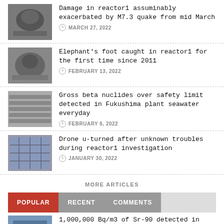Damage in reactor1 assuminably exacerbated by M7.3 quake from mid March | MARCH 27, 2022
Elephant's foot caught in reactor1 for the first time since 2011 | FEBRUARY 13, 2022
Gross beta nuclides over safety limit detected in Fukushima plant seawater everyday | FEBRUARY 6, 2022
Drone u-turned after unknown troubles during reactor1 investigation | JANUARY 30, 2022
MORE ARTICLES
POPULAR | RECENT | COMMENTS
1,000,000 Bq/m3 of Sr-90 detected in seawater of Fukushima plant port / Highest in recorded history